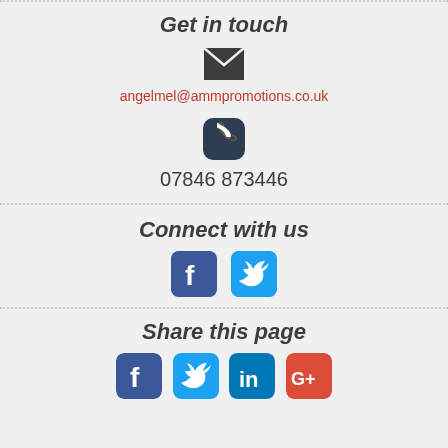Get in touch
angelmel@ammpromotions.co.uk
07846 873446
Connect with us
[Figure (other): Facebook and Twitter social media icons]
Share this page
[Figure (other): Facebook, Twitter, LinkedIn, and Google+ share icons]